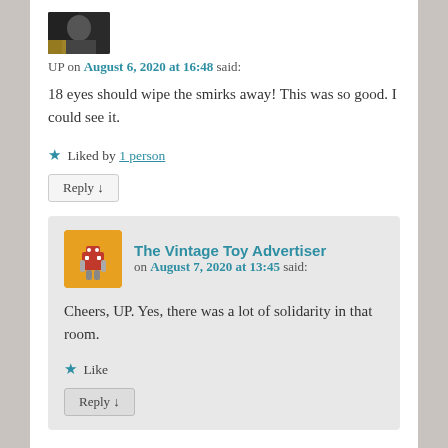[Figure (photo): Small avatar photo showing a person, dark/black tones]
UP on August 6, 2020 at 16:48 said:
18 eyes should wipe the smirks away! This was so good. I could see it.
★ Liked by 1 person
Reply ↓
[Figure (illustration): Small toy robot avatar image on orange/yellow background]
The Vintage Toy Advertiser on August 7, 2020 at 13:45 said:
Cheers, UP. Yes, there was a lot of solidarity in that room.
★ Like
Reply ↓